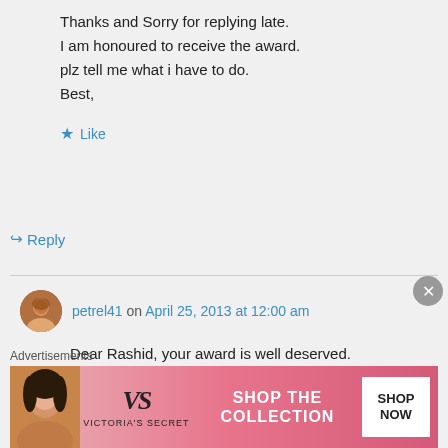Thanks and Sorry for replying late.
I am honoured to receive the award.
plz tell me what i have to do.
Best,
★ Like
↪ Reply
petrel41 on April 25, 2013 at 12:00 am
Dear Rashid, your award is well deserved.
Maybe it is easiest to go to
Advertisements
[Figure (infographic): Victoria's Secret advertisement banner with pink background, model photo, VS logo, 'SHOP THE COLLECTION' text, and 'SHOP NOW' CTA button]